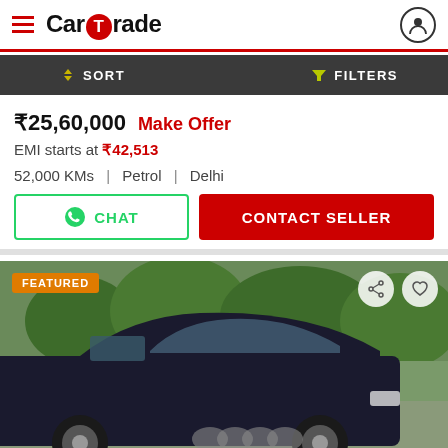CarTrade
SORT   FILTERS
₹25,60,000  Make Offer
EMI starts at ₹42,513
52,000 KMs  |  Petrol  |  Delhi
CHAT   CONTACT SELLER
[Figure (photo): Black Audi SUV (Q3/Q5) parked outdoors with green trees in background, labeled FEATURED]